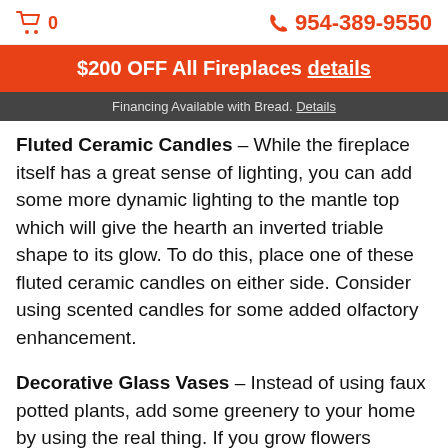🛒 0   📞 954-389-9550
$200 OFF All Fireplaces details
Financing Available with Bread. Details
Fluted Ceramic Candles – While the fireplace itself has a great sense of lighting, you can add some more dynamic lighting to the mantle top which will give the hearth an inverted triable shape to its glow. To do this, place one of these fluted ceramic candles on either side. Consider using scented candles for some added olfactory enhancement.
Decorative Glass Vases – Instead of using faux potted plants, add some greenery to your home by using the real thing. If you grow flowers outside, you can regularly cut fresh flowers and put it in one of